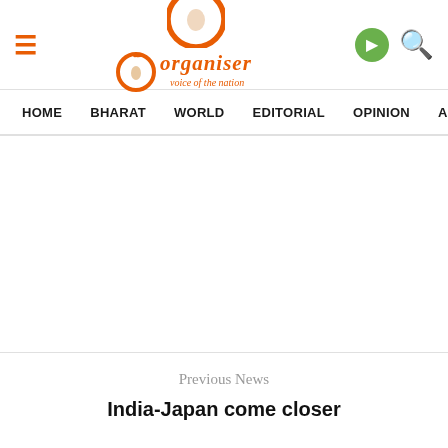[Figure (logo): Organiser logo — orange O circle with bird, orange text 'organiser' and italic tagline 'voice of the nation']
HOME   BHARAT   WORLD   EDITORIAL   OPINION   ANA
Previous News
India-Japan come closer